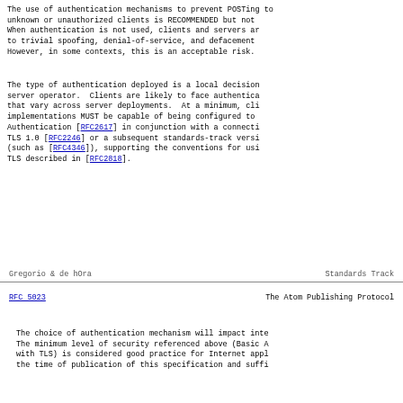The use of authentication mechanisms to prevent POSTing to unknown or unauthorized clients is RECOMMENDED but not required. When authentication is not used, clients and servers are vulnerable to trivial spoofing, denial-of-service, and defacement attacks. However, in some contexts, this is an acceptable risk.
The type of authentication deployed is a local decision for the server operator. Clients are likely to face authentication schemes that vary across server deployments. At a minimum, client implementations MUST be capable of being configured to use Basic Authentication [RFC2617] in conjunction with a connection using TLS 1.0 [RFC2246] or a subsequent standards-track version of TLS (such as [RFC4346]), supporting the conventions for using HTTP over TLS described in [RFC2818].
Gregorio & de hOra                Standards Track
RFC 5023                    The Atom Publishing Protocol
The choice of authentication mechanism will impact interoperability. The minimum level of security referenced above (Basic Authentication with TLS) is considered good practice for Internet applications at the time of publication of this specification and sufficient...